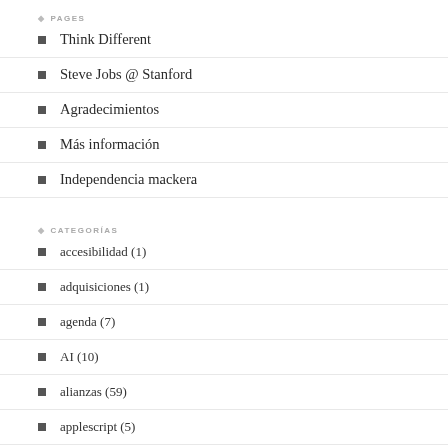PAGES
Think Different
Steve Jobs @ Stanford
Agradecimientos
Más información
Independencia mackera
CATEGORÍAS
accesibilidad (1)
adquisiciones (1)
agenda (7)
AI (10)
alianzas (59)
applescript (5)
AR/VR (6)